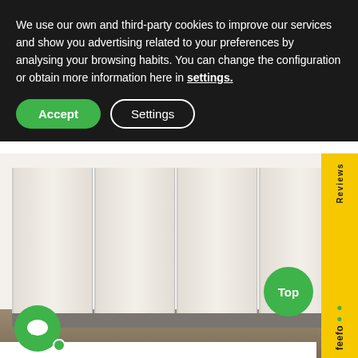We use our own and third-party cookies to improve our services and show you advertising related to your preferences by analysing your browsing habits. You can change the configuration or obtain more information here in settings.
[Figure (screenshot): Cookie consent banner with dark background, Accept (green rounded button) and Settings (white outline rounded button) options, overlaid on a product page showing a white/cream multi-fin electric radiator mounted on a wall above a wood floor. Right side shows partial Feefo Reviews yellow badge with green circle 'Top' badge. Bottom left shows green chat bubble icon.]